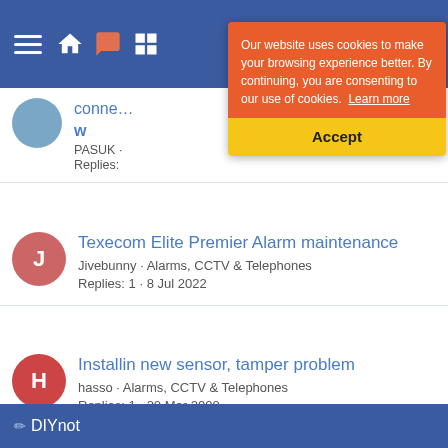[Figure (screenshot): Navigation bar with hamburger menu, home icon, message icon, and grid icon on blue background]
[Figure (infographic): Cookie consent banner with orange top section saying 'Our website uses cookies to make your browsing experience better. By continuing, you are consenting to our use of cookies. Learn more' and yellow bottom section with Accept button]
conne... w - PASUK · Replies:
Texecom Elite Premier Alarm maintenance - Jivebunny · Alarms, CCTV & Telephones - Replies: 1 · 8 Jul 2022
Installin new sensor, tamper problem - hasso · Alarms, CCTV & Telephones - Replies: 1 · 20 Mar 2008
Share:
< Alarms, CCTV & Telephones
DIYnot